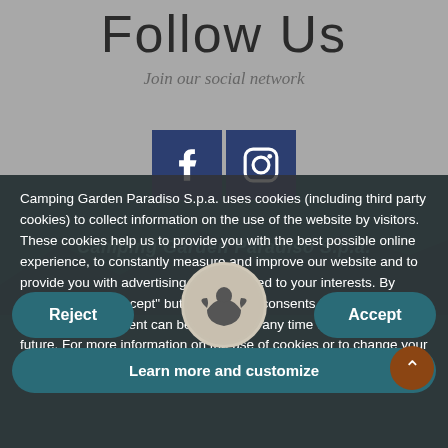Follow Us
Join our social network
[Figure (illustration): Facebook and Instagram social media icons in dark blue square boxes]
Camping Garden Paradiso S.p.a. uses cookies (including third party cookies) to collect information on the use of the website by visitors. These cookies help us to provide you with the best possible online experience, to constantly measure and improve our website and to provide you with advertising offers tailored to your interests. By clicking on the "Accept" button, the user consents to the use of cookies. The consent can be revoked at any time with effect for the future. For more information on the use of cookies or to change your settings see our policy on privacy policy or our cookies policy.
[Figure (logo): Camping Garden Paradiso S.p.a. logo - angel/cherub figure with stars in circular grey badge]
Camping Garden Paradiso S.p.a.
Reject
Accept
Learn more and customize